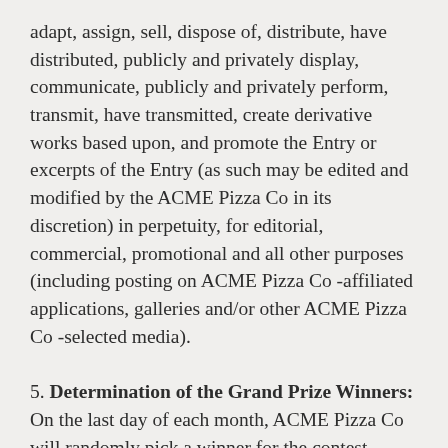adapt, assign, sell, dispose of, distribute, have distributed, publicly and privately display, communicate, publicly and privately perform, transmit, have transmitted, create derivative works based upon, and promote the Entry or excerpts of the Entry (as such may be edited and modified by the ACME Pizza Co in its discretion) in perpetuity, for editorial, commercial, promotional and all other purposes (including posting on ACME Pizza Co -affiliated applications, galleries and/or other ACME Pizza Co -selected media).
5. Determination of the Grand Prize Winners: On the last day of each month, ACME Pizza Co will randomly pick a winner for the contest.